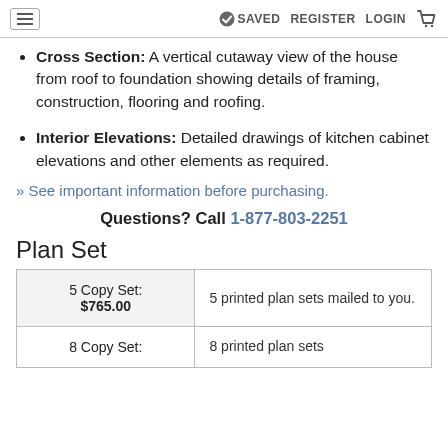SAVED  REGISTER  LOGIN
Cross Section: A vertical cutaway view of the house from roof to foundation showing details of framing, construction, flooring and roofing.
Interior Elevations: Detailed drawings of kitchen cabinet elevations and other elements as required.
» See important information before purchasing.
Questions? Call 1-877-803-2251
Plan Set
| Plan Set Option | Description |
| --- | --- |
| 5 Copy Set:
$765.00 | 5 printed plan sets mailed to you. |
| 8 Copy Set: | 8 printed plan sets |